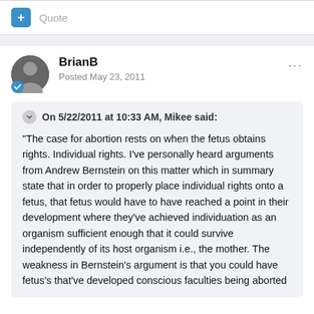+ Quote
BrianB
Posted May 23, 2011
On 5/22/2011 at 10:33 AM, Mikee said:
"The case for abortion rests on when the fetus obtains rights. Individual rights. I've personally heard arguments from Andrew Bernstein on this matter which in summary state that in order to properly place individual rights onto a fetus, that fetus would have to have reached a point in their development where they've achieved individuation as an organism sufficient enough that it could survive independently of its host organism i.e., the mother. The weakness in Bernstein's argument is that you could have fetus's that've developed conscious faculties being aborted